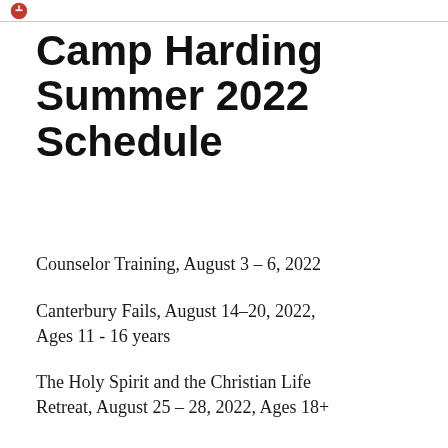Camp Harding Summer 2022 Schedule
Counselor Training, August 3 - 6, 2022
Canterbury Fails, August 14-20, 2022, Ages 11 - 16 years
The Holy Spirit and the Christian Life Retreat, August 25 - 28, 2022, Ages 18+